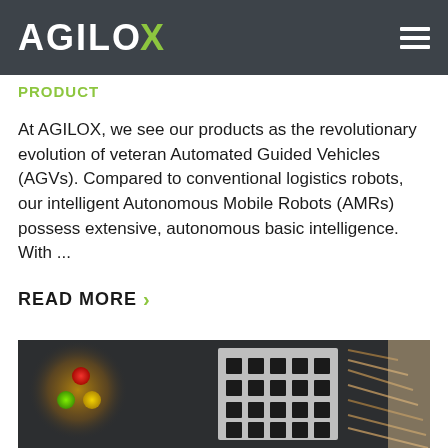AGILOX
PRODUCT
At AGILOX, we see our products as the revolutionary evolution of veteran Automated Guided Vehicles (AGVs). Compared to conventional logistics robots, our intelligent Autonomous Mobile Robots (AMRs) possess extensive, autonomous basic intelligence. With ...
READ MORE
[Figure (photo): Photo of a robotic component showing a blurred yellow/red/green light orb on the left side and a black and white structural mechanical component (metal frame with connector holes) on the right side, on a dark background with a beige wall visible at the far right.]